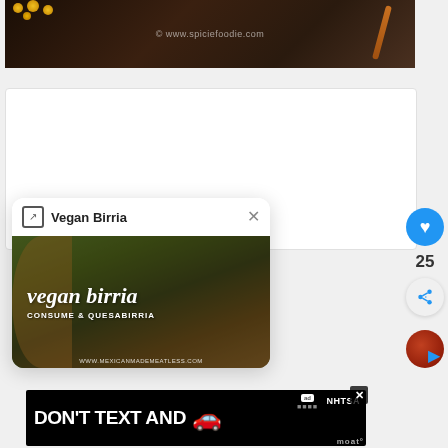[Figure (photo): Food photo on dark wood background with watermark © www.spiciefoodie.com and cinnamon sticks and coins visible]
[Figure (screenshot): White popup card with header 'Vegan Birria' and close X button, showing a food thumbnail image of vegan birria / quesabirria from www.mexicanmademeatless.com]
[Figure (screenshot): Advertisement banner: DON'T TEXT AND with red car emoji and NHTSA branding, with ad/moat badge]
[Figure (infographic): Right sidebar with blue heart button, count 25, share button, and avatar circle with play arrow]